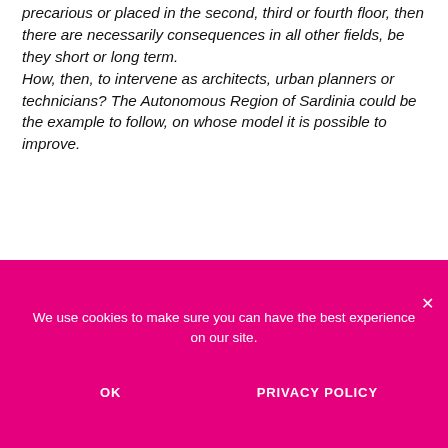precarious or placed in the second, third or fourth floor, then there are necessarily consequences in all other fields, be they short or long term. How, then, to intervene as architects, urban planners or technicians? The Autonomous Region of Sardinia could be the example to follow, on whose model it is possible to improve.
An emergency beyond the big cities
There is no doubt that today there is a need for a new vision, with the requalification of existing urban realities
We use cookies to make sure you can have the best experience on our site.
OK
PRIVACY POLICY